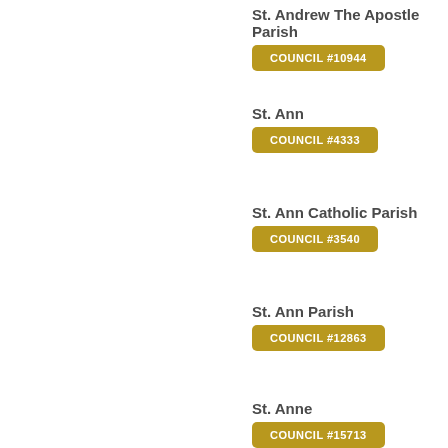St. Andrew The Apostle Parish
COUNCIL #10944
St. Ann
COUNCIL #4333
St. Ann Catholic Parish
COUNCIL #3540
St. Ann Parish
COUNCIL #12863
St. Anne
COUNCIL #15713